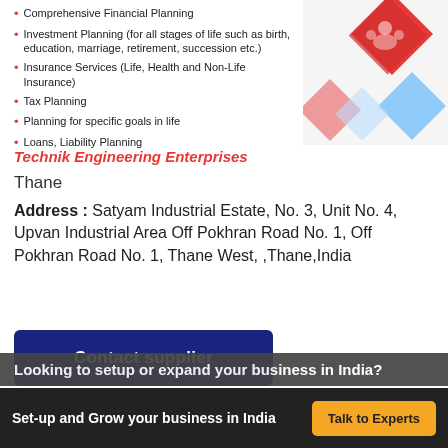Comprehensive Financial Planning
Investment Planning (for all stages of life such as birth, education, marriage, retirement, succession etc.)
Insurance Services (Life, Health and Non-Life Insurance)
Tax Planning
Planning for specific goals in life
Loans, Liability Planning
[Figure (photo): Decorative collage image with red, blue, and pink diamond/square shapes with people]
Technik Engineering Enterprises
Thane
Address : Satyam Industrial Estate, No. 3, Unit No. 4, Upvan Industrial Area Off Pokhran Road No. 1, Off Pokhran Road No. 1, Thane West, ,Thane,India
Contact supplier
Looking to setup or expand your business in India?
Set-up and Grow your business in India  Talk to Experts